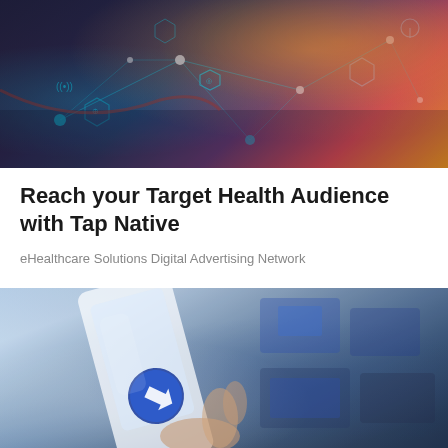[Figure (photo): Technology/network concept photo showing hands on a laptop with digital network icons, social media symbols, and glowing connection nodes overlaid on a dark background with orange/teal lighting]
Reach your Target Health Audience with Tap Native
eHealthcare Solutions Digital Advertising Network
[Figure (photo): Close-up photo of a hand holding a tablet/smartphone with a blue arrow/navigation icon on screen, with blurred screens or monitors visible in the background]